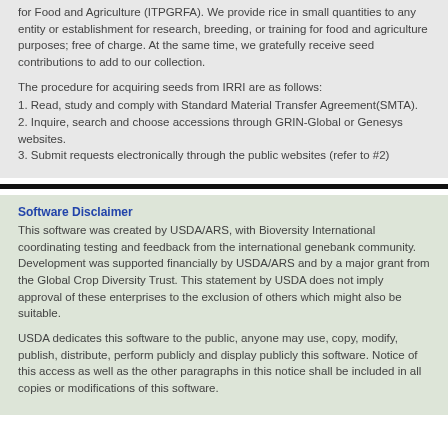for Food and Agriculture (ITPGRFA). We provide rice in small quantities to any entity or establishment for research, breeding, or training for food and agriculture purposes; free of charge. At the same time, we gratefully receive seed contributions to add to our collection.
The procedure for acquiring seeds from IRRI are as follows:
1. Read, study and comply with Standard Material Transfer Agreement(SMTA).
2. Inquire, search and choose accessions through GRIN-Global or Genesys websites.
3. Submit requests electronically through the public websites (refer to #2)
Software Disclaimer
This software was created by USDA/ARS, with Bioversity International coordinating testing and feedback from the international genebank community. Development was supported financially by USDA/ARS and by a major grant from the Global Crop Diversity Trust. This statement by USDA does not imply approval of these enterprises to the exclusion of others which might also be suitable.
USDA dedicates this software to the public, anyone may use, copy, modify, publish, distribute, perform publicly and display publicly this software. Notice of this access as well as the other paragraphs in this notice shall be included in all copies or modifications of this software.